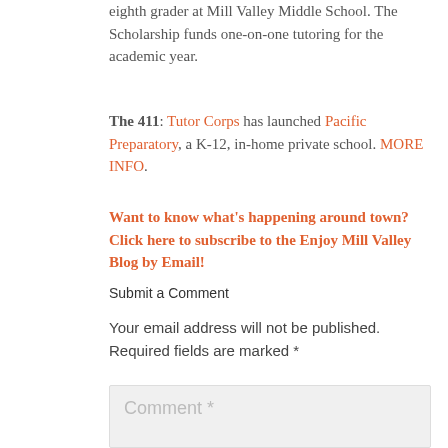eighth grader at Mill Valley Middle School. The Scholarship funds one-on-one tutoring for the academic year.
The 411: Tutor Corps has launched Pacific Preparatory, a K-12, in-home private school. MORE INFO.
Want to know what's happening around town? Click here to subscribe to the Enjoy Mill Valley Blog by Email!
Submit a Comment
Your email address will not be published. Required fields are marked *
Comment *